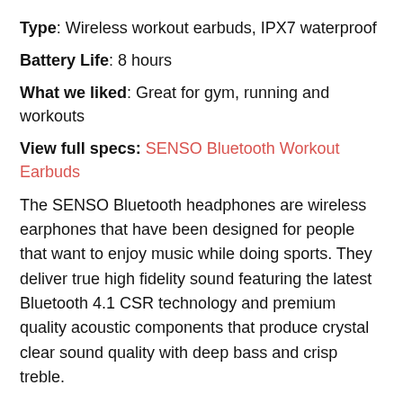Type: Wireless workout earbuds, IPX7 waterproof
Battery Life: 8 hours
What we liked: Great for gym, running and workouts
View full specs: SENSO Bluetooth Workout Earbuds
The SENSO Bluetooth headphones are wireless earphones that have been designed for people that want to enjoy music while doing sports. They deliver true high fidelity sound featuring the latest Bluetooth 4.1 CSR technology and premium quality acoustic components that produce crystal clear sound quality with deep bass and crisp treble.
The SENSO Bluetooth workout earbuds ensure a comfortable and secure fit  with active buds that feature ergonomically designed flexible ear hooks with gel Flex silicone earbuds to ensure your headphones stay comfortably in place. The quality of the materials ensures fatigue free ears and tangle free comfort. They feature IPX7 waterproof and sweatproof rating